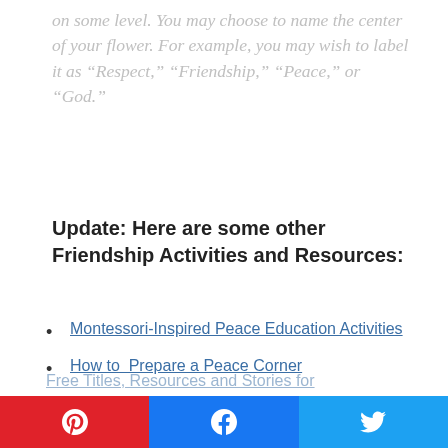on some level. You may choose to name the center of your flower. For example, you may wish to label it as "Respect," "Friendship," "Peace," or "God."
Update: Here are some other Friendship Activities and Resources:
Montessori-Inspired Peace Education Activities
How to  Prepare a Peace Corner
Montessori-Inspired Friendship Activities
Free Friendship Songs and Rhymes {Character Education Resources}
Pinterest | Facebook | Twitter share buttons